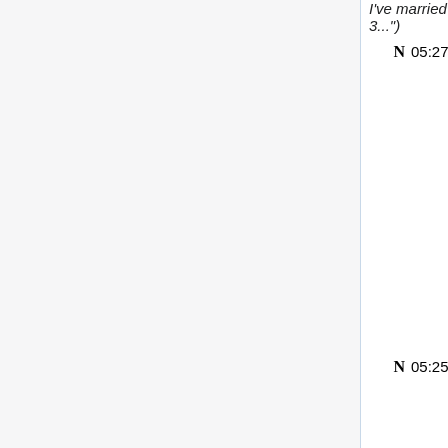I've married 3...")
N  05:27  User:RussellGaskins5 (diff | hist) . . (+355) . . RussellGaskins5 (talk | contribs) (Created page with "Hello from Netherlands. I'm glad to be here. My first name is Therese. <br>I live in a city called Drachten in east Netherlands. <br>I was also born in Drachten 40 years ago. M...")
N  05:25  User:DanieleLondon15 (diff | hist) . . (+253) . . DanieleLondon15 (talk | contribs) (Created page with "Hello, I'm Daniele, a 30 ye... old from Dallas, United Sta...